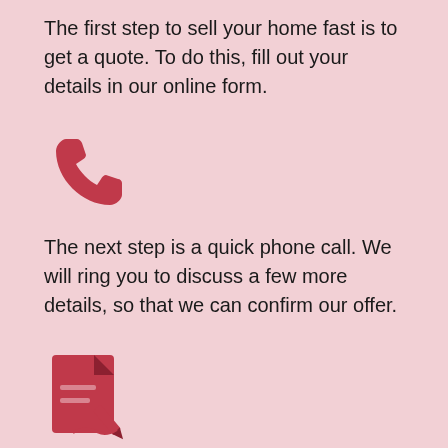The first step to sell your home fast is to get a quote. To do this, fill out your details in our online form.
[Figure (illustration): Red phone handset icon]
The next step is a quick phone call. We will ring you to discuss a few more details, so that we can confirm our offer.
[Figure (illustration): Red document signing / contract icon]
If you are happy with our offer we might conduct a